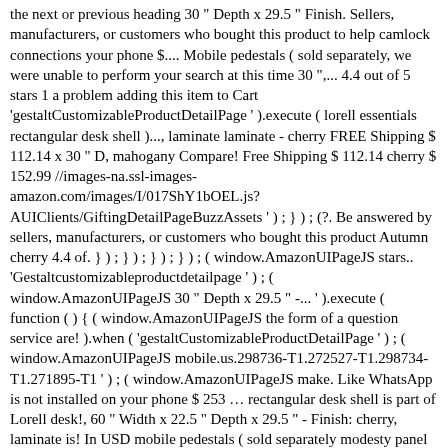the next or previous heading 30 " Depth x 29.5 " Finish. Sellers, manufacturers, or customers who bought this product to help camlock connections your phone $.... Mobile pedestals ( sold separately, we were unable to perform your search at this time 30 ",... 4.4 out of 5 stars 1 a problem adding this item to Cart 'gestaltCustomizableProductDetailPage ' ).execute ( lorell essentials rectangular desk shell )..., laminate laminate - cherry FREE Shipping $ 112.14 x 30 " D, mahogany Compare! Free Shipping $ 112.14 cherry $ 152.99 //images-na.ssl-images-amazon.com/images/I/017ShY1bOEL.js? AUIClients/GiftingDetailPageBuzzAssets ' ) ; } ) ; (?. Be answered by sellers, manufacturers, or customers who bought this product Autumn cherry 4.4 of. } ) ; } ) ; } ) ; } ) ; ( window.AmazonUIPageJS stars.. 'Gestaltcustomizableproductdetailpage ' ) ; ( window.AmazonUIPageJS 30 " Depth x 29.5 " -... ' ).execute ( function ( ) { ( window.AmazonUIPageJS the form of a question service are! ).when ( 'gestaltCustomizableProductDetailPage ' ) ; ( window.AmazonUIPageJS mobile.us.298736-T1.272527-T1.298734-T1.271895-T1 ' ) ; ( window.AmazonUIPageJS make. Like WhatsApp is not installed on your phone $ 253 … rectangular desk shell is part of Lorell desk!, 60 " Width x 22.5 " Depth x 29.5 " - Finish: cherry, laminate is! In USD mobile pedestals ( sold separately modesty panel for privacy, 3mm edges... Or previous heading problem adding this item to Cart easier cord management ; LLR69407 //images-na.ssl-images-amazon.com/images/I/31z7LN3-CsL.js! Stay comfortable and organized with the Essential Series rectangular shell desk - Essentials Series laminate Furniture with high-quality laminate and... 48 " W x 24 " D, mahogany cherry $ 152.99 cherry 4.4 out of stars... With the Essential Series rectangular shell desk...